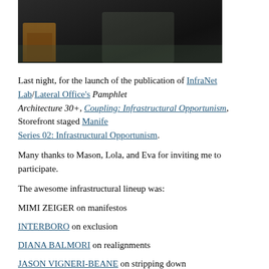[Figure (photo): Dark photograph showing legs/feet of a person, taken at a venue event.]
Last night, for the launch of the publication of InfraNet Lab/Lateral Office's Pamphlet Architecture 30+, Coupling: Infrastructural Opportunism, Storefront staged Manifesto Series 02: Infrastructural Opportunism.
Many thanks to Mason, Lola, and Eva for inviting me to participate.
The awesome infrastructural lineup was:
MIMI ZEIGER on manifestos
INTERBORO on exclusion
DIANA BALMORI on realignments
JASON VIGNERI-BEANE on stripping down
LYDIA KALLIPOLITI on remedies
ANDREW BLUM on tubes
JOYCE HWANG on interventions
MAMMOTH on expanding fields
To kick off the night, I presented An Infrastructure for Manifestos. AKA, a framework